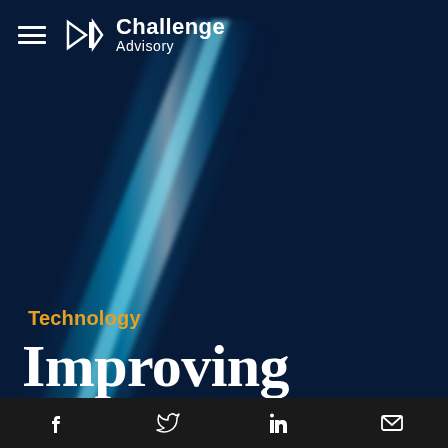[Figure (logo): Challenge Advisory logo with hamburger menu icon, geometric logo mark, and text 'Challenge Advisory']
[Figure (illustration): Dark navy blue background with cyan/blue light beam diagonal streak across the left portion of the page]
Technology
Improving
Social media icons: Facebook, Twitter, LinkedIn, Email